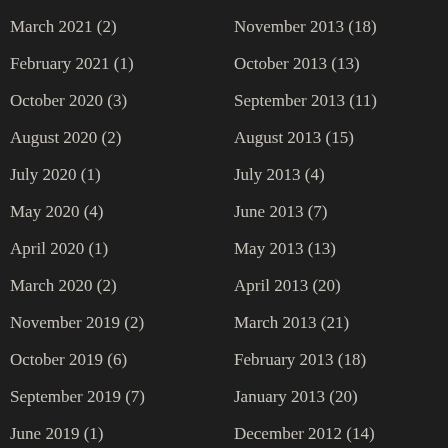March 2021 (2)
February 2021 (1)
October 2020 (3)
August 2020 (2)
July 2020 (1)
May 2020 (4)
April 2020 (1)
March 2020 (2)
November 2019 (2)
October 2019 (6)
September 2019 (7)
June 2019 (1)
November 2013 (18)
October 2013 (13)
September 2013 (11)
August 2013 (15)
July 2013 (4)
June 2013 (7)
May 2013 (13)
April 2013 (20)
March 2013 (21)
February 2013 (18)
January 2013 (20)
December 2012 (14)